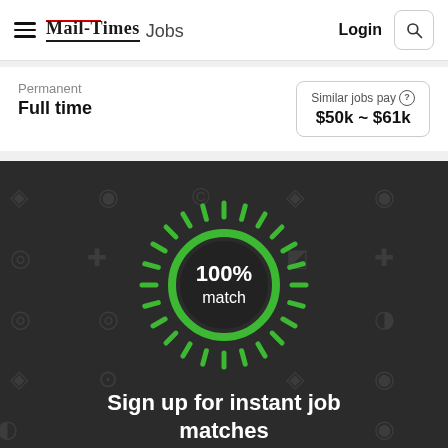Mail-Times Jobs | Login
Permanent
Full time
Similar jobs pay ℹ $50k ~ $61k
[Figure (infographic): Dark background panel with a glowing green circular match indicator showing '100% match' in the center, surrounded by radiating green tick marks, with faint background icons of job-related symbols. Text below reads 'Sign up for instant job matches']
Sign up for instant job matches